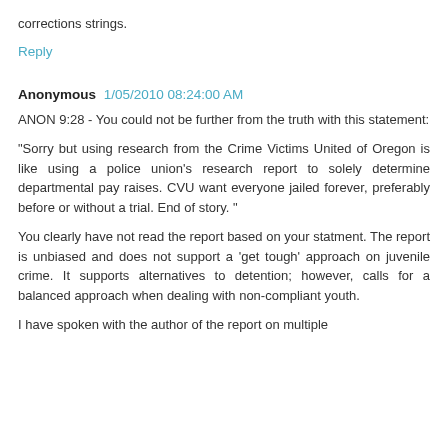corrections strings.
Reply
Anonymous  1/05/2010 08:24:00 AM
ANON 9:28 - You could not be further from the truth with this statement:
"Sorry but using research from the Crime Victims United of Oregon is like using a police union's research report to solely determine departmental pay raises. CVU want everyone jailed forever, preferably before or without a trial. End of story. "
You clearly have not read the report based on your statment. The report is unbiased and does not support a 'get tough' approach on juvenile crime. It supports alternatives to detention; however, calls for a balanced approach when dealing with non-compliant youth.
I have spoken with the author of the report on multiple